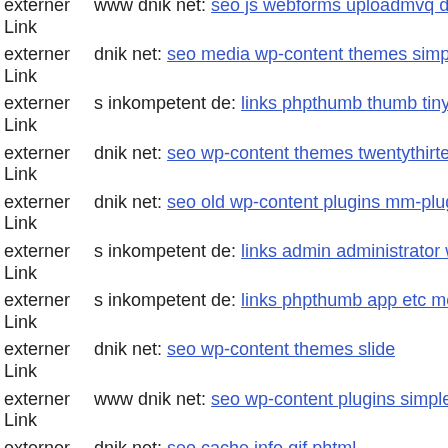externer Link  www dnik net: seo js webforms uploadmvq downloader inc
externer Link  dnik net: seo media wp-content themes simplicity mail inko
externer Link  s inkompetent de: links phpthumb thumb tinymce jscripts ti
externer Link  dnik net: seo wp-content themes twentythirteen 404 php
externer Link  dnik net: seo old wp-content plugins mm-plugin git head
externer Link  s inkompetent de: links admin administrator wp-content the
externer Link  s inkompetent de: links phpthumb app etc modules phpthum
externer Link  dnik net: seo wp-content themes slide
externer Link  www dnik net: seo wp-content plugins simple-ads-manager
externer Link  dnik net: seo cache info gif phtml
externer Link  dnik net: seo components com b2jcontact
externer Link  www dnik net: seo media system js magmi web skin wp-co